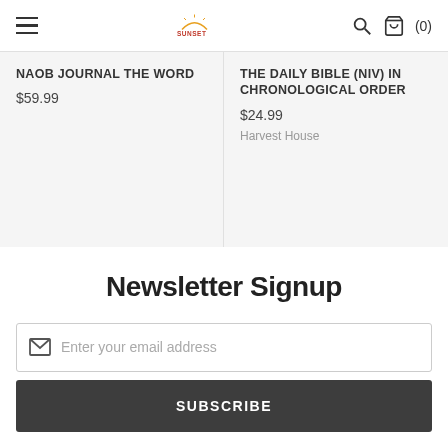Sunset [logo] Q (0)
NAOB JOURNAL THE WORD
$59.99
THE DAILY BIBLE (NIV) IN CHRONOLOGICAL ORDER
$24.99
Harvest House
Newsletter Signup
Enter your email address
SUBSCRIBE